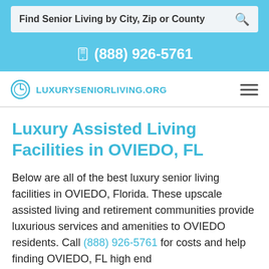Find Senior Living by City, Zip or County
(888) 926-5761
LuxurySeniorLiving.org
Luxury Assisted Living Facilities in OVIEDO, FL
Below are all of the best luxury senior living facilities in OVIEDO, Florida. These upscale assisted living and retirement communities provide luxurious services and amenities to OVIEDO residents. Call (888) 926-5761 for costs and help finding OVIEDO, FL high end